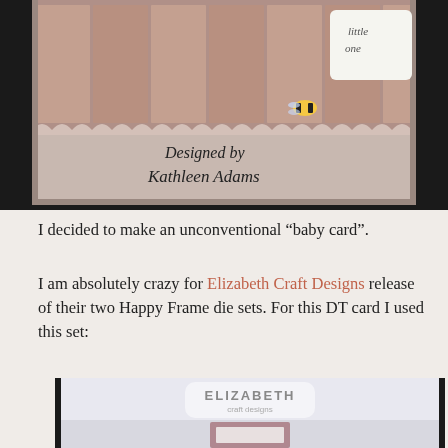[Figure (photo): Photo of a handmade baby card with rustic wood-look frame. Text on the card reads 'Designed by Kathleen Adams' in handwritten style. A bee embellishment and 'little one' text are visible.]
I decided to make an unconventional “baby card”.
I am absolutely crazy for Elizabeth Craft Designs release of their two Happy Frame die sets.  For this DT card I used this set:
[Figure (photo): Photo of an Elizabeth Craft Designs product packaging showing the brand logo and a pink square frame die cut piece on a light grey background with scalloped edges.]